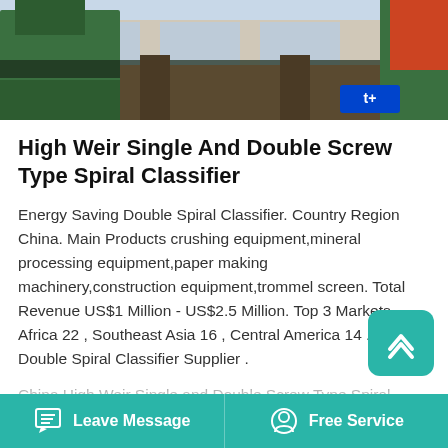[Figure (photo): Industrial machinery photo showing green metal equipment/spiral classifier in a factory setting with overhead cranes]
High Weir Single And Double Screw Type Spiral Classifier
Energy Saving Double Spiral Classifier. Country Region China. Main Products crushing equipment,mineral processing equipment,paper making machinery,construction equipment,trommel screen. Total Revenue US$1 Million - US$2.5 Million. Top 3 Markets Africa 22 , Southeast Asia 16 , Central America 14 . Tags Double Spiral Classifier Supplier .
China High Weir Single and Double Screw Type Spiral Classifier for Mineral and Benefication, Find details about China Spiral Classifier Equipment…
Leave Message   Free Service